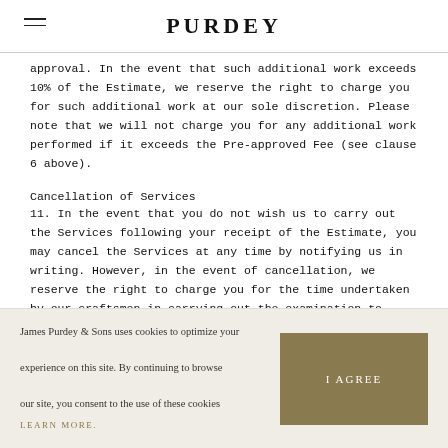PURDEY
approval. In the event that such additional work exceeds 10% of the Estimate, we reserve the right to charge you for such additional work at our sole discretion. Please note that we will not charge you for any additional work performed if it exceeds the Pre-approved Fee (see clause 6 above).
Cancellation of Services
11. In the event that you do not wish us to carry out the Services following your receipt of the Estimate, you may cancel the Services at any time by notifying us in writing. However, in the event of cancellation, we reserve the right to charge you for the time undertaken by our craftsmen in carrying out the examination to provide
James Purdey & Sons uses cookies to optimize your experience on this site. By continuing to browse our site, you consent to the use of these cookies
LEARN MORE.